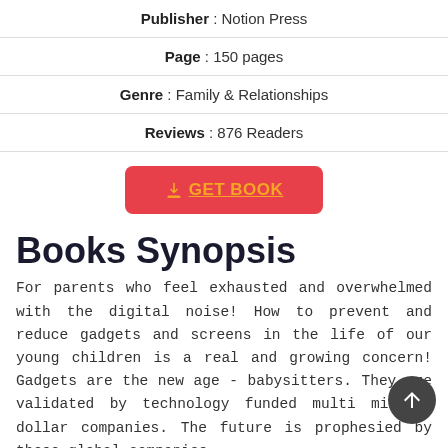Publisher : Notion Press
Page : 150 pages
Genre : Family & Relationships
Reviews : 876 Readers
[Figure (other): Red button with yellow text and download icon reading GET BOOK]
Books Synopsis
For parents who feel exhausted and overwhelmed with the digital noise! How to prevent and reduce gadgets and screens in the life of our young children is a real and growing concern! Gadgets are the new age - babysitters. They are validated by technology funded multi million dollar companies. The future is prophesied by these global companies